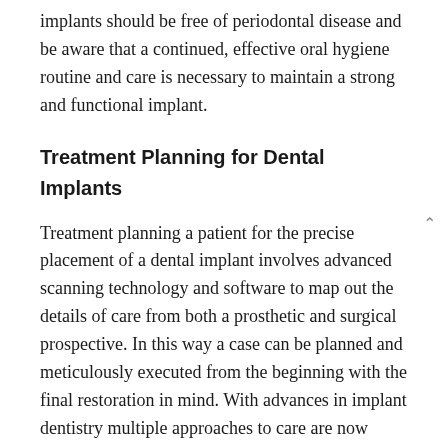implants should be free of periodontal disease and be aware that a continued, effective oral hygiene routine and care is necessary to maintain a strong and functional implant.
Treatment Planning for Dental Implants
Treatment planning a patient for the precise placement of a dental implant involves advanced scanning technology and software to map out the details of care from both a prosthetic and surgical prospective. In this way a case can be planned and meticulously executed from the beginning with the final restoration in mind. With advances in implant dentistry multiple approaches to care are now being offered. In certain cases an implant can be placed at the same time a dental extraction is performed. This procedure is known as, “immediate dental